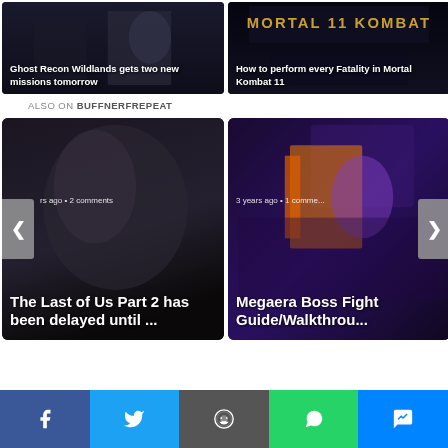[Figure (screenshot): Ghost Recon Wildlands game screenshot — dark military scene with text overlay]
Ghost Recon Wildlands gets two new missions tomorrow
[Figure (screenshot): Mortal Kombat 11 logo/title card screenshot with dark atmospheric background]
How to perform every Fatality in Mortal Kombat 11
ALSO ON BUFFNERFREPEAT
[Figure (screenshot): The Last of Us Part 2 carousel card — dark moody character screenshot with navigation arrows. Meta: rs ago • 2 comments. Title: The Last of Us Part 2 has been delayed until ...]
[Figure (screenshot): Megaera Boss Fight carousel card — colorful action game screenshot. Meta: 3 years ago • 1 comment. Title: Megaera Boss Fight Guide/Walkthrou...]
[Figure (infographic): Social sharing bar with Facebook, Twitter, Reddit, WhatsApp, and Messenger buttons]